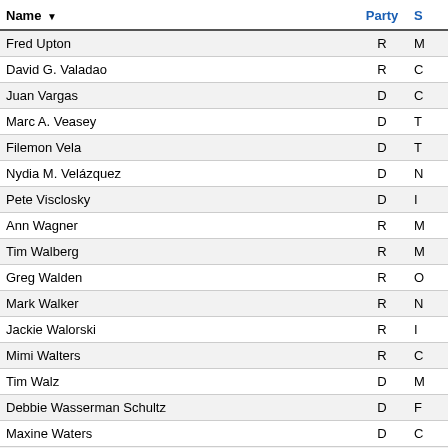| Name | Party | S |
| --- | --- | --- |
| Fred Upton | R | M |
| David G. Valadao | R | C |
| Juan Vargas | D | C |
| Marc A. Veasey | D | T |
| Filemon Vela | D | T |
| Nydia M. Velázquez | D | N |
| Pete Visclosky | D | I |
| Ann Wagner | R | M |
| Tim Walberg | R | M |
| Greg Walden | R | O |
| Mark Walker | R | N |
| Jackie Walorski | R | I |
| Mimi Walters | R | C |
| Tim Walz | D | M |
| Debbie Wasserman Schultz | D | F |
| Maxine Waters | D | C |
| Bonnie Watson Coleman | D | N |
| Randy K. Weber, Sr. | R | T |
| Daniel Webster | R | F |
| Peter Welch | D | V |
| Brad R. Wenstrup | R | O |
| Bruce Westerman | R | A |